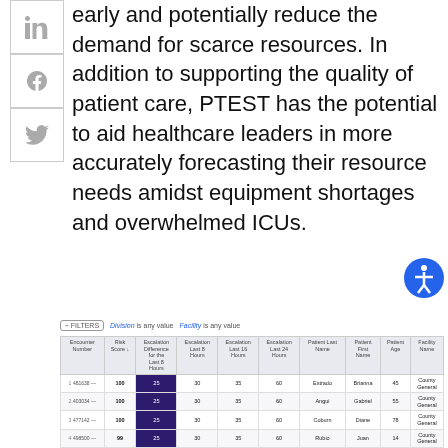[Figure (other): Social media sidebar with LinkedIn, Facebook, and Twitter icons in bordered boxes]
early and potentially reduce the demand for scarce resources. In addition to supporting the quality of patient care, PTEST has the potential to aid healthcare leaders in more accurately forecasting their resource needs amidst equipment shortages and overwhelmed ICUs.
[Figure (other): Blue circular accessibility icon button]
÷ FILTERS   Division is any value   Facility is any value
| Encounter Number | Risk Score | Escalation Difference for the Last 8 Hours | Escalation Last 8 Hours | Escalation Last 16 Hours | Escalation Last 24 Hours | Patient Last Name | Patient First Name | Patient Age | Facility Name |
| --- | --- | --- | --- | --- | --- | --- | --- | --- | --- |
| 481638 — | 100 | 25 | 30 | 35 | 60 | Estrado | Brianna | 45 | County General |
| 403034 — | 100 | 25 | 30 | 35 | 60 | Angui | Gabriel | 55 | County General |
| 477142 — | 100 | 25 | 30 | 35 | 60 | Coburn | Diane | 78 | County General |
| 498500 — | 99 | 25 | 30 | 35 | 60 | Rubio | Juan | 14 | County General |
| 475478 — | 99 | 25 | 20 | 35 | 60 | Escobar | Amrah | 11 | County General |
| 182041 — | 99 | 25 | 30 | 31 | 59 | Edmonster | Abhishai | 44 | County General |
| 478781 — | 99 | 25 | 30 | 35 | 59 | Hunter | Girl Momma | 60 | County General |